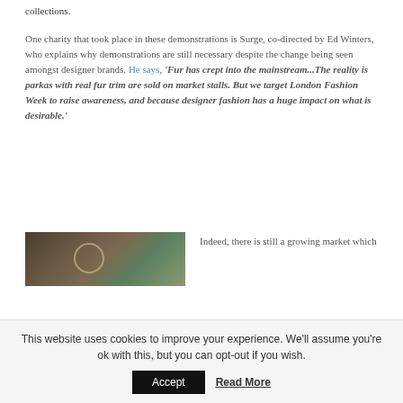collections.
One charity that took place in these demonstrations is Surge, co-directed by Ed Winters, who explains why demonstrations are still necessary despite the change being seen amongst designer brands. He says, 'Fur has crept into the mainstream...The reality is parkas with real fur trim are sold on market stalls. But we target London Fashion Week to raise awareness, and because designer fashion has a huge impact on what is desirable.'
[Figure (photo): A photograph showing a dark wooden surface with decorative elements and purple flowers in the background]
Indeed, there is still a growing market which
This website uses cookies to improve your experience. We'll assume you're ok with this, but you can opt-out if you wish.